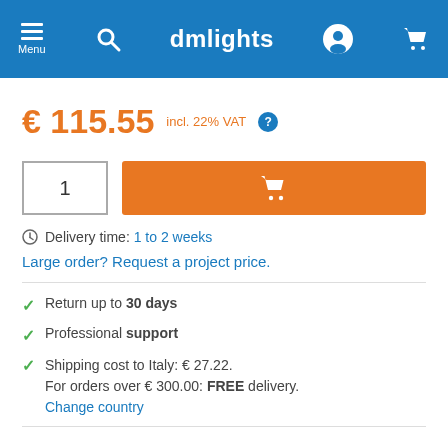dmlights — Menu, Search, User, Cart
€ 115.55 incl. 22% VAT
[Figure (screenshot): Quantity input box showing '1' and orange add-to-cart button with shopping cart icon]
Delivery time: 1 to 2 weeks
Large order? Request a project price.
Return up to 30 days
Professional support
Shipping cost to Italy: € 27.22. For orders over € 300.00: FREE delivery. Change country